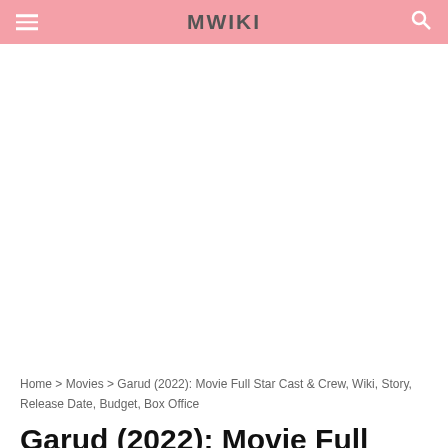MWIKI
[Figure (other): Advertisement or blank white content area]
Home > Movies > Garud (2022): Movie Full Star Cast & Crew, Wiki, Story, Release Date, Budget, Box Office
Garud (2022): Movie Full Star Cast &